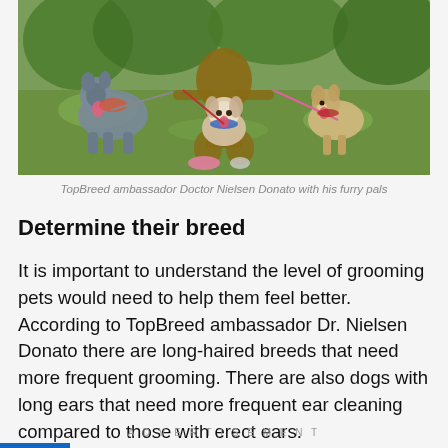[Figure (photo): Person crouching on grass with three dogs on leashes — a large grey/blue heeler on the left, a small fluffy white/tan dog in the center, and a small fawn/white dog on the right.]
TopBreed ambassador Doctor Nielsen Donato with his furry pals
Determine their breed
It is important to understand the level of grooming pets would need to help them feel better. According to TopBreed ambassador Dr. Nielsen Donato there are long-haired breeds that need more frequent grooming. There are also dogs with long ears that need more frequent ear cleaning compared to those with erect ears.
ADVERTISEMENT